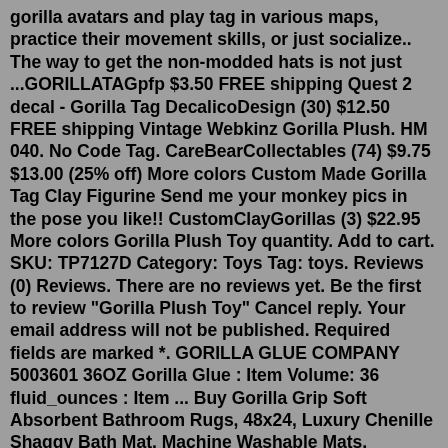gorilla avatars and play tag in various maps, practice their movement skills, or just socialize.. The way to get the non-modded hats is not just ...GORILLATAGpfp $3.50 FREE shipping Quest 2 decal - Gorilla Tag DecalicoDesign (30) $12.50 FREE shipping Vintage Webkinz Gorilla Plush. HM 040. No Code Tag. CareBearCollectables (74) $9.75 $13.00 (25% off) More colors Custom Made Gorilla Tag Clay Figurine Send me your monkey pics in the pose you like!! CustomClayGorillas (3) $22.95 More colors Gorilla Plush Toy quantity. Add to cart. SKU: TP7127D Category: Toys Tag: toys. Reviews (0) Reviews. There are no reviews yet. Be the first to review "Gorilla Plush Toy" Cancel reply. Your email address will not be published. Required fields are marked *. GORILLA GLUE COMPANY 5003601 36OZ Gorilla Glue : Item Volume: 36 fluid_ounces : Item ... Buy Gorilla Grip Soft Absorbent Bathroom Rugs, 48x24, Luxury Chenille Shaggy Bath Mat, Machine Washable Mats, Microfiber Dries Quickly, Plush and Durable Rug for Bathtub and Shower